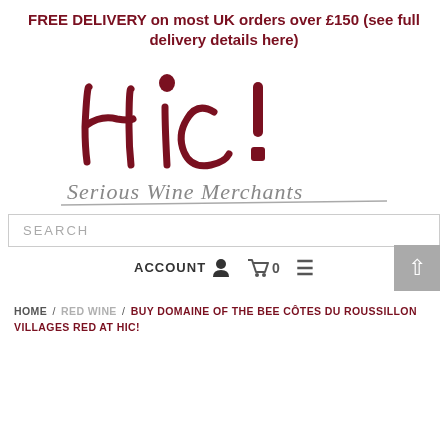FREE DELIVERY on most UK orders over £150 (see full delivery details here)
[Figure (logo): Hic! Serious Wine Merchants handwritten logo in dark red/maroon color]
SEARCH
ACCOUNT   🛒 0   ☰
HOME / RED WINE / BUY DOMAINE OF THE BEE CÔTES DU ROUSSILLON VILLAGES RED AT HIC!